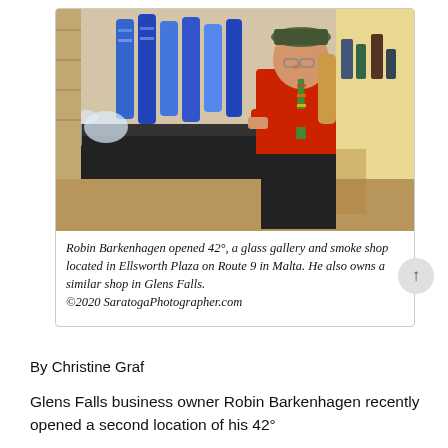[Figure (photo): A man in a red shirt and colorful tie leans against a display counter filled with glass pipes and water pipes in a smoke shop. Blue cylindrical containers line the shelves behind him.]
Robin Barkenhagen opened 42°, a glass gallery and smoke shop located in Ellsworth Plaza on Route 9 in Malta. He also owns a similar shop in Glens Falls.
©2020 SaratogaPhotographer.com
By Christine Graf
Glens Falls business owner Robin Barkenhagen recently opened a second location of his 42°